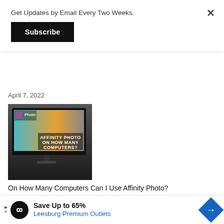Get Updates by Email Every Two Weeks.
Subscribe
April 7, 2022
[Figure (screenshot): Screenshot of Affinity Photo application showing a monitor with colorful artwork and bold text reading 'AFFINITY PHOTO ON HOW MANY COMPUTERS?']
On How Many Computers Can I Use Affinity Photo?
February 1, 2022
Save Up to 65%
Leesburg Premium Outlets